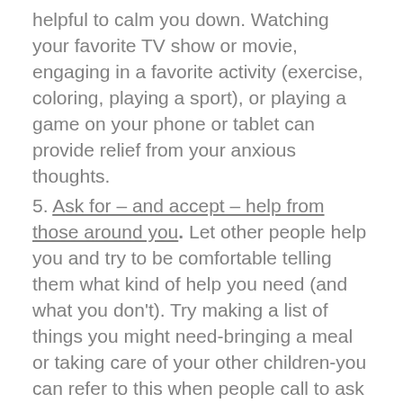helpful to calm you down. Watching your favorite TV show or movie, engaging in a favorite activity (exercise, coloring, playing a sport), or playing a game on your phone or tablet can provide relief from your anxious thoughts.
5. Ask for – and accept – help from those around you. Let other people help you and try to be comfortable telling them what kind of help you need (and what you don't). Try making a list of things you might need-bringing a meal or taking care of your other children-you can refer to this when people call to ask how they can help you.
Research has shown that by adopting some of these basic good coping skills, we can increase